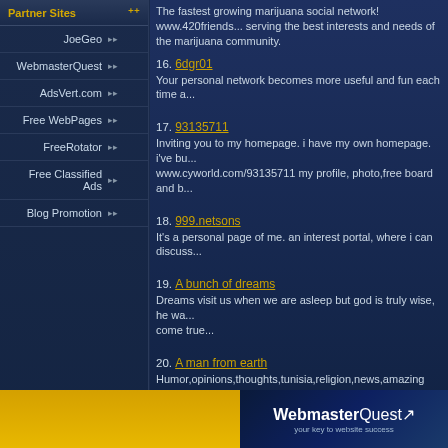Partner Sites
JoeGeo
WebmasterQuest
AdsVert.com
Free WebPages
FreeRotator
Free Classified Ads
Blog Promotion
The fastest growing marijuana social network! www.420friends... serving the best interests and needs of the marijuana community.
16. 6dgr01
Your personal network becomes more useful and fun each time a...
17. 93135711
Inviting you to my homepage. i have my own homepage. i've bu... www.cyworld.com/93135711 my profile, photo,free board and b...
18. 999.netsons
It's a personal page of me. an interest portal, where i can discuss...
19. A bunch of dreams
Dreams visit us when we are asleep but god is truly wise, he wa... come true...
20. A man from earth
Humor,opinions,thoughts,tunisia,religion,news,amazing pictures...
Previous Pag...
Join...
[Figure (logo): WebmasterQuest logo — your key to website success]